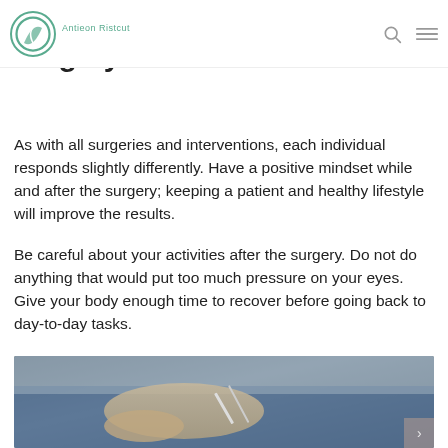Antieon Ristcut
Factors That Affect Surgery Result
As with all surgeries and interventions, each individual responds slightly differently. Have a positive mindset while and after the surgery; keeping a patient and healthy lifestyle will improve the results.
Be careful about your activities after the surgery. Do not do anything that would put too much pressure on your eyes. Give your body enough time to recover before going back to day-to-day tasks.
[Figure (photo): Close-up photo of surgeon's gloved hands performing eye surgery with a surgical instrument.]